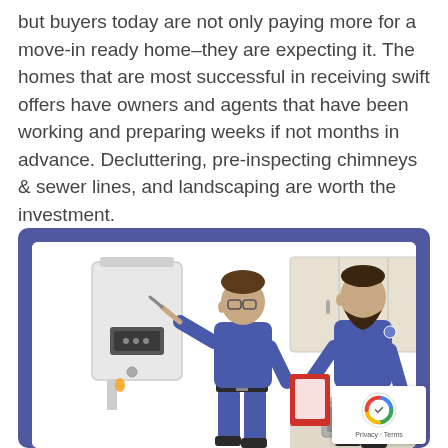but buyers today are not only paying more for a move-in ready home–they are expecting it. The homes that are most successful in receiving swift offers have owners and agents that have been working and preparing weeks if not months in advance. Decluttering, pre-inspecting chimneys & sewer lines, and landscaping are worth the investment.
[Figure (illustration): Illustration with a blue/purple border showing two workers in blue coveralls. Left worker is inspecting or working on a wall-mounted boiler/HVAC unit. Right worker with a beard is working at a kitchen sink with upper cabinets visible behind him. He is holding a red clipboard/toolbox. White interior background.]